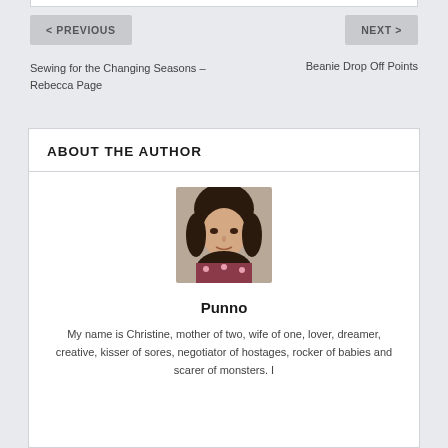< PREVIOUS
NEXT >
Sewing for the Changing Seasons – Rebecca Page
Beanie Drop Off Points
ABOUT THE AUTHOR
[Figure (photo): Portrait photo of a woman with dark hair looking at camera]
Punno
My name is Christine, mother of two, wife of one, lover, dreamer, creative, kisser of sores, negotiator of hostages, rocker of babies and scarer of monsters. I